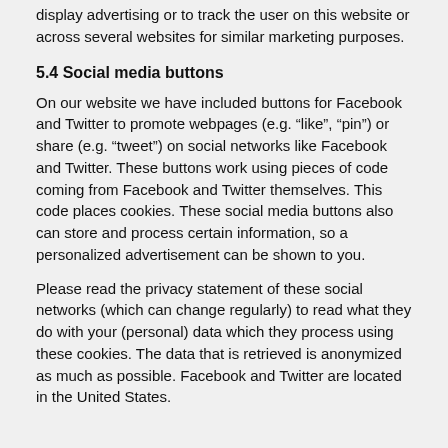display advertising or to track the user on this website or across several websites for similar marketing purposes.
5.4 Social media buttons
On our website we have included buttons for Facebook and Twitter to promote webpages (e.g. “like”, “pin”) or share (e.g. “tweet”) on social networks like Facebook and Twitter. These buttons work using pieces of code coming from Facebook and Twitter themselves. This code places cookies. These social media buttons also can store and process certain information, so a personalized advertisement can be shown to you.
Please read the privacy statement of these social networks (which can change regularly) to read what they do with your (personal) data which they process using these cookies. The data that is retrieved is anonymized as much as possible. Facebook and Twitter are located in the United States.